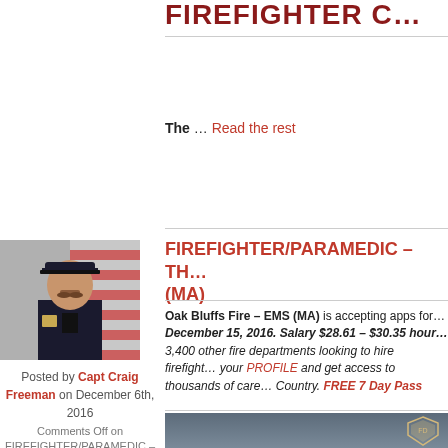FIREFIGHTER C… (cropped)
The … Read the rest
FIREFIGHTER/PARAMEDIC – TH… (MA)
[Figure (photo): Headshot of a fire department captain in uniform with American flag in background]
Posted by Capt Craig Freeman on December 6th, 2016
Comments Off on FIREFIGHTER/PARAMEDIC – The Oak Bluffs Fire -EMS (MA)
Oak Bluffs Fire – EMS (MA) is accepting apps for… December 15, 2016. Salary $28.61 – $30.35 hour… 3,400 other fire departments looking to hire firefight… your PROFILE and get access to thousands of care… Country. FREE 7 Day Pass
[Figure (photo): Fire department banner/logo on grey background, partially visible at bottom]